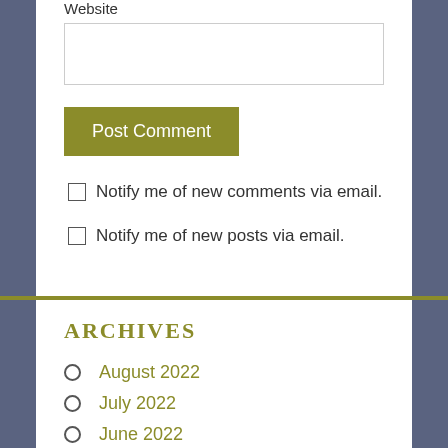Website
Post Comment
Notify me of new comments via email.
Notify me of new posts via email.
ARCHIVES
August 2022
July 2022
June 2022